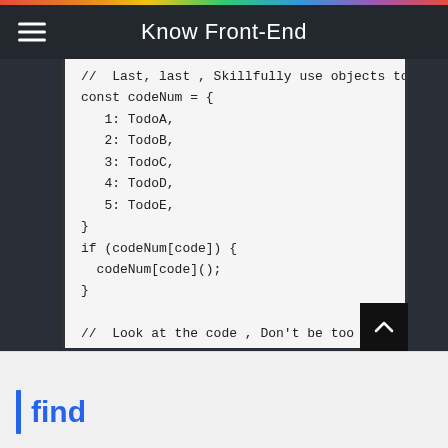Know Front-End
// Last, last , Skillfully use objects to " gra
const codeNum = {
   1: TodoA,
   2: TodoB,
   3: TodoC,
   4: TodoD,
   5: TodoE,
}
if (codeNum[code]) {
  codeNum[code]();
}

//  Look at the code , Don't be too concise , Yo
 Copy code
find